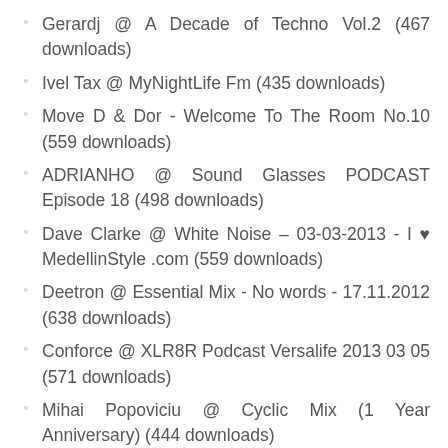Gerardj @ A Decade of Techno Vol.2 (467 downloads)
Ivel Tax @ MyNightLife Fm (435 downloads)
Move D & Dor - Welcome To The Room No.10 (559 downloads)
ADRIANHO @ Sound Glasses PODCAST Episode 18 (498 downloads)
Dave Clarke @ White Noise – 03-03-2013 - I ♥ MedellinStyle .com (559 downloads)
Deetron @ Essential Mix - No words - 17.11.2012 (638 downloads)
Conforce @ XLR8R Podcast Versalife 2013 03 05 (571 downloads)
Mihai Popoviciu @ Cyclic Mix (1 Year Anniversary) (444 downloads)
Oscar Mulero @ Balans Podcast 025,